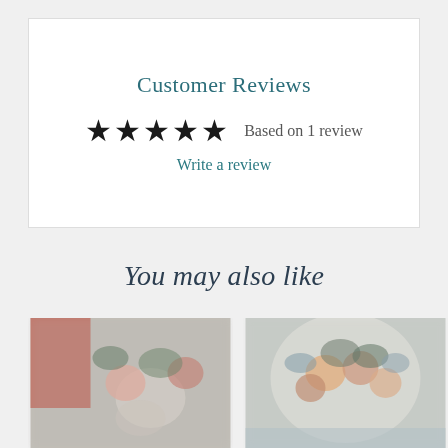Customer Reviews
★★★★★ Based on 1 review
Write a review
You may also like
[Figure (photo): Two blurred product photos side by side showing floral/botanical arrangements]
[Figure (photo): Blurred floral arrangement with peach roses and blue/green foliage on light background]